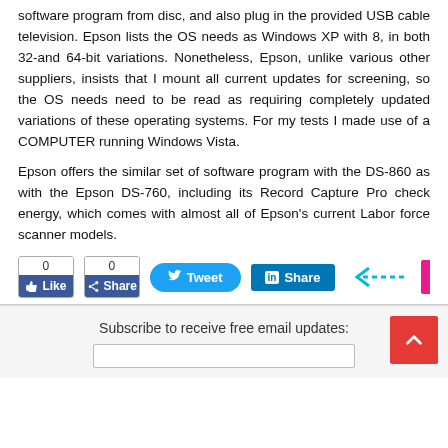software program from disc, and also plug in the provided USB cable television. Epson lists the OS needs as Windows XP with 8, in both 32-and 64-bit variations. Nonetheless, Epson, unlike various other suppliers, insists that I mount all current updates for screening, so the OS needs need to be read as requiring completely updated variations of these operating systems. For my tests I made use of a COMPUTER running Windows Vista.
Epson offers the similar set of software program with the DS-860 as with the Epson DS-760, including its Record Capture Pro check energy, which comes with almost all of Epson's current Labor force scanner models.
[Figure (screenshot): Social sharing buttons: Facebook Like (0), Facebook Share (0), Twitter Tweet, LinkedIn Share, and a pink arrow pointing left with a partial pink element on the right edge]
Subscribe to receive free email updates: